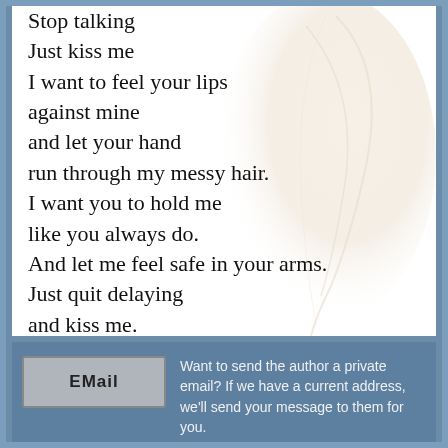Stop talking
Just kiss me
I want to feel your lips against mine
and let your hand
run through my messy hair.
I want you to hold me
like you always do.
And let me feel safe in your arms.
Just quit delaying
and kiss me.
EMail
Want to send the author a private email? If we have a current address, we'll send your message to them for you.